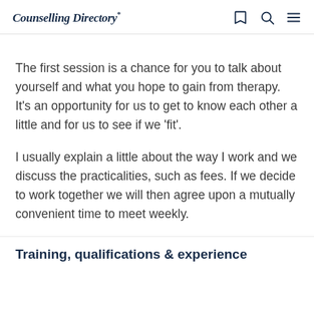Counselling Directory*
The first session is a chance for you to talk about yourself and what you hope to gain from therapy. It’s an opportunity for us to get to know each other a little and for us to see if we ‘fit’.
I usually explain a little about the way I work and we discuss the practicalities, such as fees. If we decide to work together we will then agree upon a mutually convenient time to meet weekly.
Training, qualifications & experience